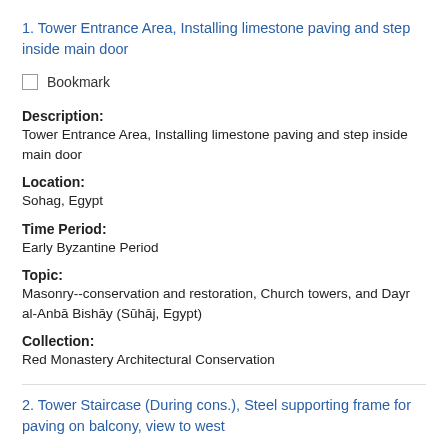1. Tower Entrance Area, Installing limestone paving and step inside main door
Bookmark
Description:
Tower Entrance Area, Installing limestone paving and step inside main door
Location:
Sohag, Egypt
Time Period:
Early Byzantine Period
Topic:
Masonry--conservation and restoration, Church towers, and Dayr al-Anbā Bishāy (Sūhāj, Egypt)
Collection:
Red Monastery Architectural Conservation
2. Tower Staircase (During cons.), Steel supporting frame for paving on balcony, view to west